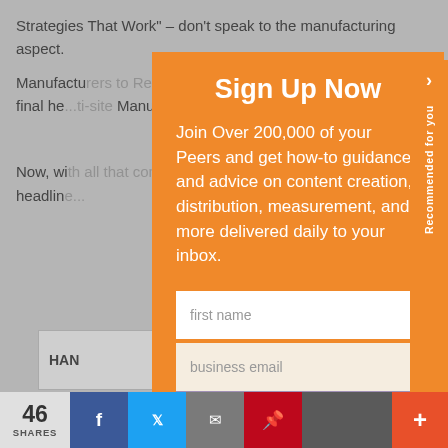Strategies That Work" – don't speak to the manufacturing aspect. Manufactu... duce Employ... he same, o... The final he... ti-site Manufa... es the type of...
Now, wi... ete, you are ... ite the headlin...
[Figure (screenshot): Sign Up Now modal overlay with orange background. Title: Sign Up Now. Body text: Join Over 200,000 of your Peers and get how-to guidance and advice on content creation, distribution, measurement, and more delivered daily to your inbox. Two form fields: first name, business email. Submit button: Sign Up Now in muted purple.]
Recommended for you
HAN...
46 SHARES